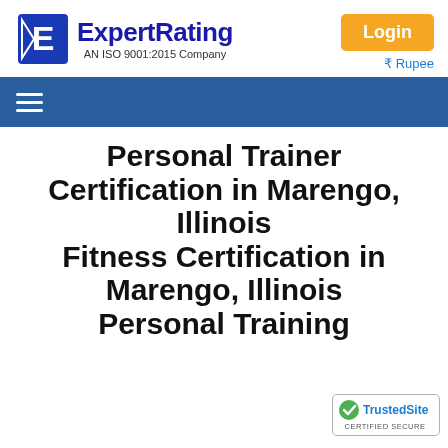[Figure (logo): ExpertRating logo with blue stylized E icon and text 'ExpertRating AN ISO 9001:2015 Company']
Login
₹ Rupee
[Figure (other): Navigation bar with hamburger menu icon on dark blue background]
Personal Trainer Certification in Marengo, Illinois Fitness Certification in Marengo, Illinois Personal Training
[Figure (other): TrustedSite CERTIFIED SECURE badge]